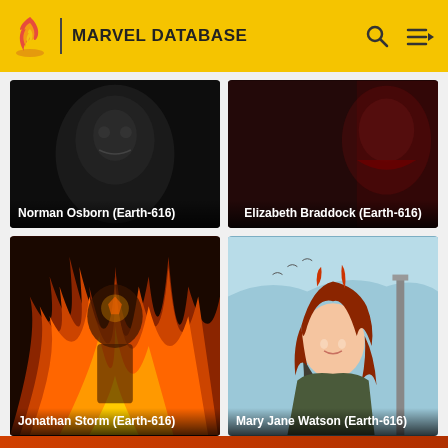MARVEL DATABASE
[Figure (screenshot): Norman Osborn (Earth-616) character card with dark background]
[Figure (screenshot): Elizabeth Braddock (Earth-616) character card with dark red background]
[Figure (screenshot): Jonathan Storm (Earth-616) character card showing figure engulfed in flames]
[Figure (screenshot): Mary Jane Watson (Earth-616) character card with anime art style, red hair]
All items (5)